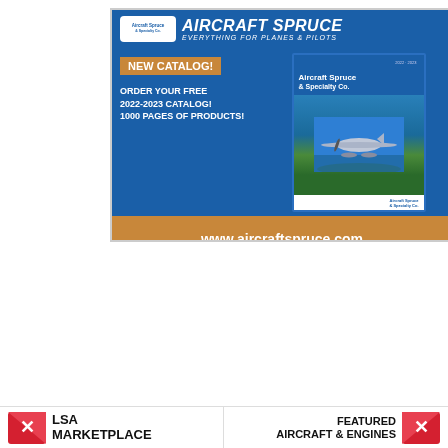[Figure (illustration): Aircraft Spruce & Specialty Co. advertisement featuring their 2022-2023 catalog. Blue background with company logo, 'NEW CATALOG!' badge in brown, text 'ORDER YOUR FREE 2022-2023 CATALOG! 1000 PAGES OF PRODUCTS!', image of catalog book with seaplane, and footer 'www.aircraftspruce.com']
[Figure (illustration): Sensenich Propellers advertisement with blue sky and clouds background, Sensenich logo (winged badge), and text 'When you take to the skies .....' and 'Do it with a Sensenich Propeller']
[Figure (logo): LSA MARKETPLACE banner with red X logo icon on the left side]
[Figure (logo): FEATURED AIRCRAFT & ENGINES banner with red X logo icon on the right side]